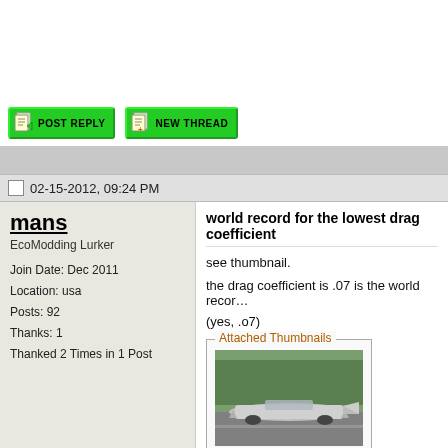[Figure (screenshot): Post Reply and New Thread buttons with green backgrounds and pixel-art icons]
02-15-2012, 09:24 PM
mans
EcoModding Lurker
Join Date: Dec 2011
Location: usa
Posts: 92
Thanks: 1
Thanked 2 Times in 1 Post
world record for the lowest drag coefficient
see thumbnail.
the drag coefficient is .07 is the world reco…
(yes, .o7)
[Figure (photo): Thumbnail photo of a very low-profile aerodynamic vehicle on a road with trees in background]
Attached Thumbnails